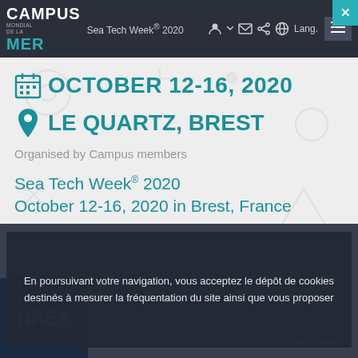CAMPUS MONDIAL DE LA MER — Sea Tech Week® 2020 — Navigation bar with Lang., menu icons
OCTOBER 12-16, 2020
LE QUARTZ, BREST
Organised by Campus members
Sea Tech Week® 2020
October 12-16, 2020 in Brest, France
En poursuivant votre navigation, vous acceptez le dépôt de cookies destinés à mesurer la fréquentation du site ainsi que vous proposer